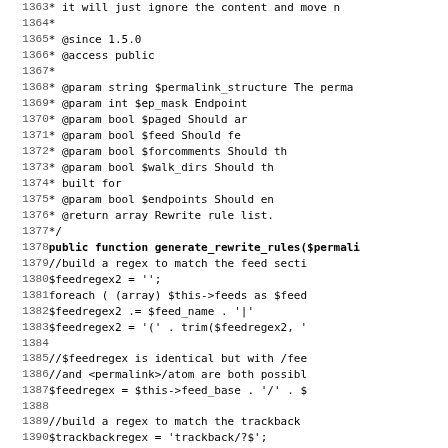[Figure (screenshot): Source code listing showing PHP code with line numbers 1363-1395, including PHPDoc comment block and function generate_rewrite_rules definition with regex building logic]